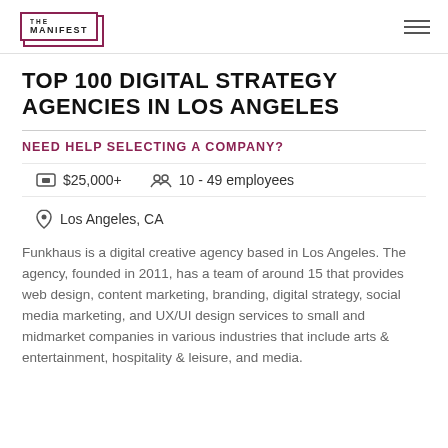THE MANIFEST
TOP 100 DIGITAL STRATEGY AGENCIES IN LOS ANGELES
NEED HELP SELECTING A COMPANY?
$25,000+   10 - 49 employees
Los Angeles, CA
Funkhaus is a digital creative agency based in Los Angeles. The agency, founded in 2011, has a team of around 15 that provides web design, content marketing, branding, digital strategy, social media marketing, and UX/UI design services to small and midmarket companies in various industries that include arts & entertainment, hospitality & leisure, and media.